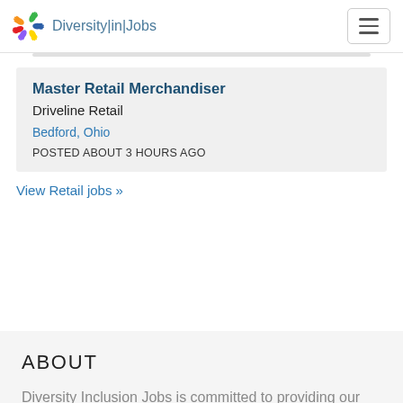Diversity|in|Jobs
Master Retail Merchandiser
Driveline Retail
Bedford, Ohio
POSTED ABOUT 3 HOURS AGO
View Retail jobs »
ABOUT
Diversity Inclusion Jobs is committed to providing our Diversity community with